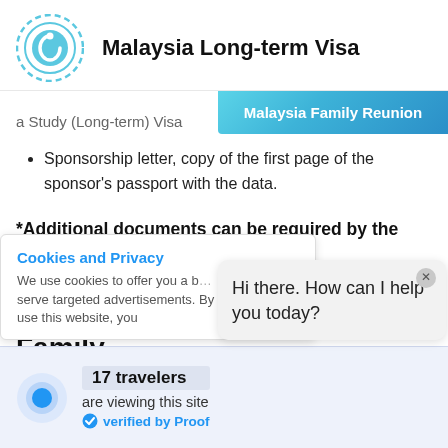Malaysia Long-term Visa
a Study (Long-term) Visa
Malaysia Family Reunion
Sponsorship letter, copy of the first page of the sponsor's passport with the data.
*Additional documents can be required by the embassy.
Processing Time for Malaysia Family Reunion Visa
Cookies and Privacy
We use cookies to offer you a b... serve targeted advertisements. By continuing to use this website, you
Hi there. How can I help you today?
17 travelers
are viewing this site
verified by Proof